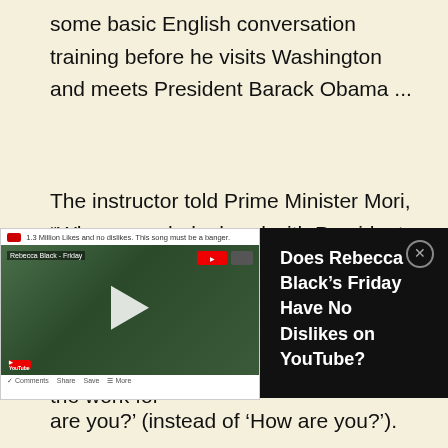some basic English conversation training before he visits Washington and meets President Barack Obama ...
The instructor told Prime Minister Mori, “When you shake hand with President Obama, please say ‘How are you?’ Then Mr. Obama should say, ‘I am fine, and you?’ Now, you should say ‘Me too.’ Afterwards, we translators will do the work for
[Figure (screenshot): Embedded video overlay showing Rebecca Black Friday YouTube video thumbnail with play button, and a dark panel with text 'Does Rebecca Black’s Friday Have No Dislikes on YouTube?' and a close button]
are you?’ (instead of ‘How are you?’).